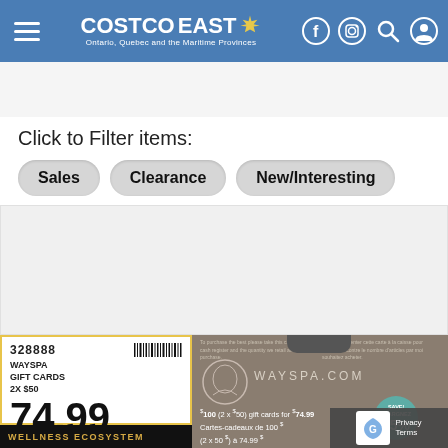COSTCO EAST — Ontario, Quebec and the Maritime Provinces
Click to Filter items:
Sales
Clearance
New/Interesting
[Figure (photo): Costco price tag for Wayspa Gift Cards 2x $50, priced at $74.99, alongside a Wayspa.com gift card package showing $100 (2x $50) gift cards for $74.99 / Cartes-cadeaux de 100$ (2x50$) à 74.99$, with a 25% save badge. Item number 328888. Wellness Ecosystem branding at bottom left.]